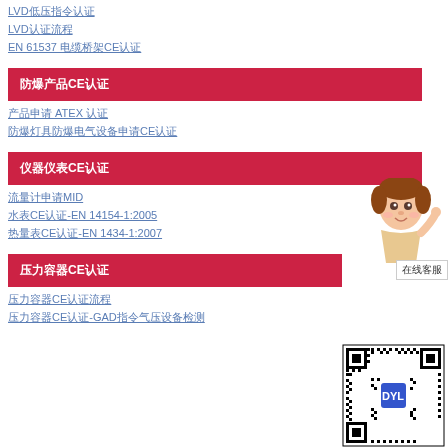LVD低压指令认证
LVD认证流程
EN 61537 电缆桥架CE认证
防爆产品CE认证
产品申请 ATEX 认证
防爆灯具防爆电气设备申请CE认证
仪器仪表CE认证
流量计申请MID
水表CE认证-EN 14154-1:2005
热量表CE认证-EN 1434-1:2007
压力容器CE认证
压力容器CE认证流程
压力容器CE认证-GAD指令气压设备检测